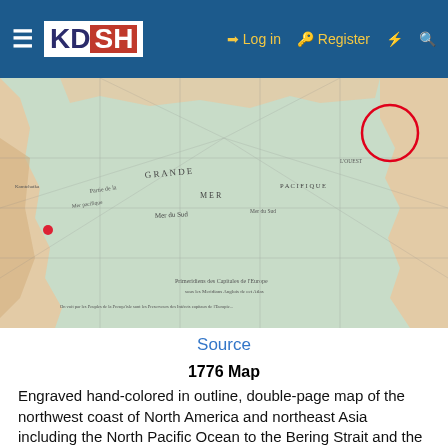KDSH | Log in | Register
[Figure (map): Historical 1776 map of the northwest coast of North America and northeast Asia including the North Pacific Ocean, with a red circle marking a region near the top right. Old French text labels visible. Engraved and hand-colored map.]
Source
1776 Map
Engraved hand-colored in outline, double-page map of the northwest coast of North America and northeast Asia including the North Pacific Ocean to the Bering Strait and the Kamchatka Peninsula. Alaska shown by a group of islands off the coast of Russia, identified as Isole Alessiane.
The ... ang in the...